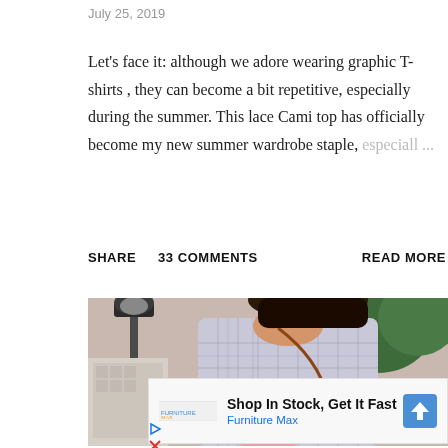July 25, 2019
Let's face it: although we adore wearing graphic T-shirts , they can become a bit repetitive, especially during the summer. This lace Cami top has officially become my new summer wardrobe staple, especiall ...
SHARE   33 COMMENTS   READ MORE
[Figure (photo): Close-up photo of a person in a plaid blazer carrying a pink bag, with a green street lamp and trees in the background]
[Figure (infographic): Advertisement: Shop In Stock, Get It Fast - Furniture Max, with blue diamond arrow icon and Furniture Max logo]